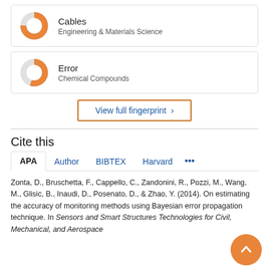[Figure (donut-chart): Donut chart icon for Cables - Engineering & Materials Science]
Cables
Engineering & Materials Science
[Figure (donut-chart): Donut chart icon for Error - Chemical Compounds]
Error
Chemical Compounds
View full fingerprint >
Cite this
APA  Author  BIBTEX  Harvard  ...
Zonta, D., Bruschetta, F., Cappello, C., Zandonini, R., Pozzi, M., Wang, M., Glisic, B., Inaudi, D., Posenato, D., & Zhao, Y. (2014). On estimating the accuracy of monitoring methods using Bayesian error propagation technique. In Sensors and Smart Structures Technologies for Civil, Mechanical, and Aerospace